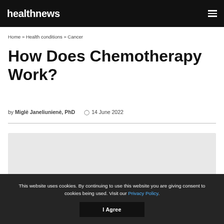healthnews
Home » Health conditions » Cancer
How Does Chemotherapy Work?
by Miglė Janeliunienė, PhD   14 June 2022
[Figure (photo): Gray placeholder image for article]
This website uses cookies. By continuing to use this website you are giving consent to cookies being used. Visit our Privacy Policy.